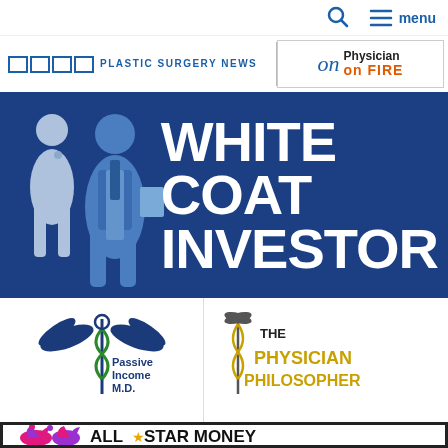[Figure (logo): Navigation bar with search icon and menu text in blue]
[Figure (logo): Plastic Surgery News logo on left, Physician on FIRE logo on right]
[Figure (logo): White Coat Investor banner with silhouettes of two doctors in white coats on dark blue background with large white text reading WHITE COAT INVESTOR]
[Figure (logo): Passive Income M.D. logo with caduceus/winged medical symbol in blue and green]
[Figure (logo): The Physician Philosopher logo with caduceus symbol, THE in black, PHYSICIAN PHILOSOPHER in gold/yellow]
[Figure (logo): All Star Money logo banner with jester hat icons in pink/purple and star symbol, bold black text ALL STAR MONEY]